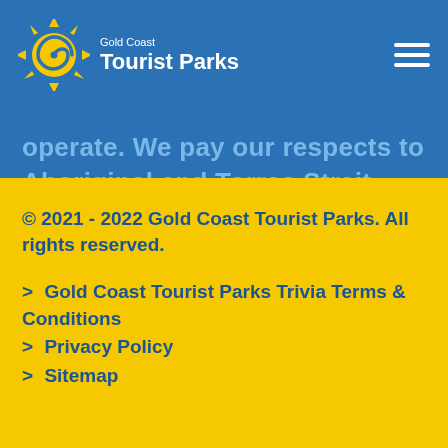[Figure (logo): Gold Coast Tourist Parks logo with sun graphic and white text]
operate. We pay our respects to Aboriginal and Torres Strait Islander Elders past, present and future.
© 2021  - 2022 Gold Coast Tourist Parks. All rights reserved.
>  Gold Coast Tourist Parks Trivia Terms & Conditions
>  Privacy Policy
>  Sitemap